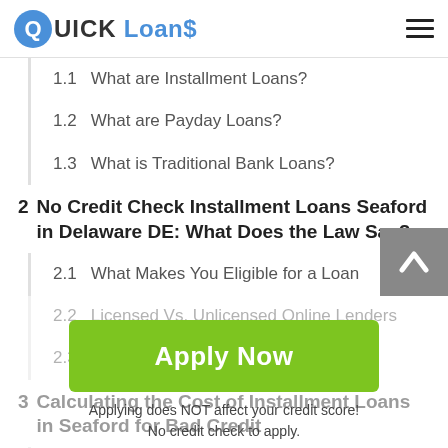QUICK Loans
1.1  What are Installment Loans?
1.2  What are Payday Loans?
1.3  What is Traditional Bank Loans?
2  No Credit Check Installment Loans Seaford in Delaware DE: What Does the Law Say?
2.1  What Makes You Eligible for a Loan
2.2  Licensed Vs. Unlicensed Online Lenders
2.3  Protecting Your Rights
3  Calculating the Cost of Installment Loans in Seaford for Bad Credit
3.1  How Much You Can Borrow
3.2  Basic Calculations and Fees Overview
3.3  Debt Calculators
Apply Now
Applying does NOT affect your credit score!
No credit check to apply.